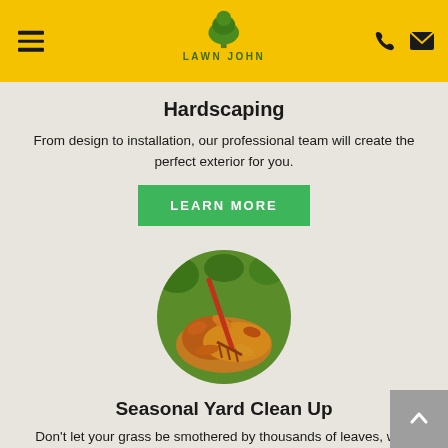LAWN JOHN — navigation header with menu, logo, phone and email icons
Hardscaping
From design to installation, our professional team will create the perfect exterior for you.
LEARN MORE
[Figure (photo): Circular photo of a person raking autumn leaves into a pile on green grass]
Seasonal Yard Clean Up
Don't let your grass be smothered by thousands of leaves, we'll